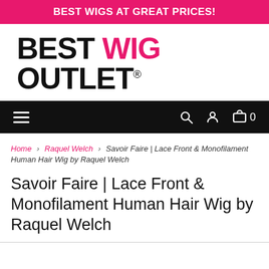BEST WIGS AT GREAT PRICES!
[Figure (logo): Best Wig Outlet logo with 'WIG' in pink and 'BEST OUTLET' in black, bold sans-serif font with registered trademark symbol]
Navigation bar with hamburger menu, search, account, and cart icons
Home > Raquel Welch > Savoir Faire | Lace Front & Monofilament Human Hair Wig by Raquel Welch
Savoir Faire | Lace Front & Monofilament Human Hair Wig by Raquel Welch